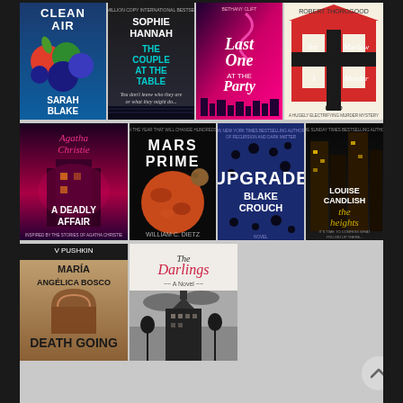[Figure (illustration): Grid of book covers arranged in 3 rows. Row 1: Clean Air by Sarah Blake (blue cover with fruit/berries), The Couple at the Table by Sophie Hannah (dark/grey cover), Last One at the Party by Bethany Clift (pink/magenta cover with city skyline), The Marlow Murder Club by Robert Thorogood (red house cover). Row 2: A Deadly Affair by Agatha Christie (dark pink cover), Mars Prime by William C. Dietz (orange planet cover), Upgrade by Blake Crouch (blue cover with dots), The Heights by Louise Candlish (dark building cover). Row 3: Death Going / Maria Angelica Bosco (tan/sepia cover), The Darlings (black and white city/building cover). Plus a scroll-up button in lower right.]